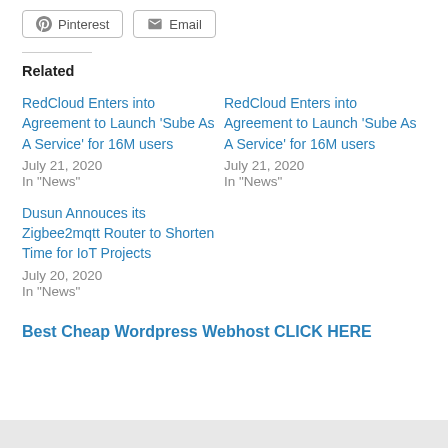Pinterest  Email
Related
RedCloud Enters into Agreement to Launch 'Sube As A Service' for 16M users
July 21, 2020
In "News"
RedCloud Enters into Agreement to Launch 'Sube As A Service' for 16M users
July 21, 2020
In "News"
Dusun Annouces its Zigbee2mqtt Router to Shorten Time for IoT Projects
July 20, 2020
In "News"
Best Cheap Wordpress Webhost CLICK HERE